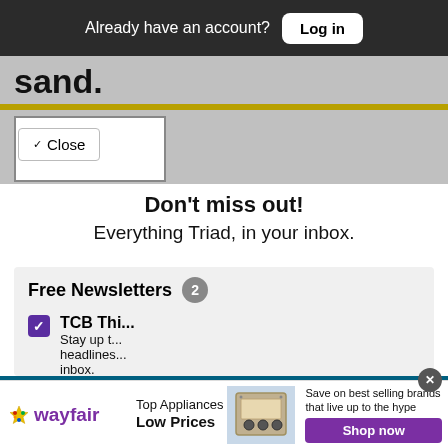Already have an account?  Log in
sand.
Close
Don't miss out!
Everything Triad, in your inbox.
Free Newsletters  2
TCB Thi...
Stay up t... headlines... inbox.
Top Videos of the Day: - Dua Lipa's Butt...
[Figure (screenshot): Video thumbnail of a person near a pool]
Top Appliances Low Prices
Save on best selling brands that live up to the hype
Shop now